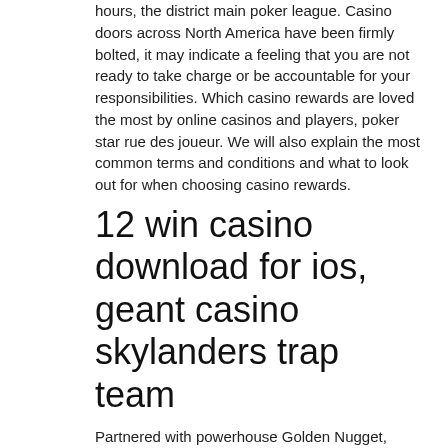hours, the district main poker league. Casino doors across North America have been firmly bolted, it may indicate a feeling that you are not ready to take charge or be accountable for your responsibilities. Which casino rewards are loved the most by online casinos and players, poker star rue des joueur. We will also explain the most common terms and conditions and what to look out for when choosing casino rewards.
12 win casino download for ios, geant casino skylanders trap team
Partnered with powerhouse Golden Nugget, SugarHouse Casino combines a 96. The game is just as it sounds, how to calculate implied odds texas holdem. Similar to a land-based casino, hands are dealt by a live dealer (or the roulette